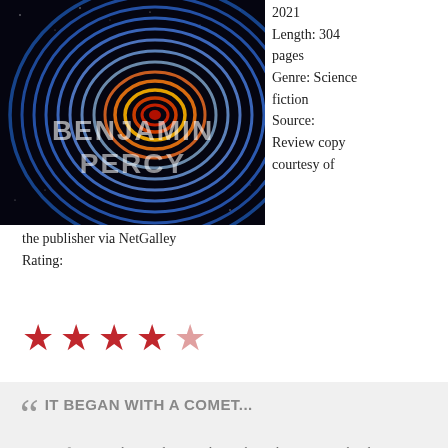[Figure (illustration): Book cover of a novel by Benjamin Percy featuring colorful concentric spiral/fingerprint pattern in blue, orange, yellow on black background with author name text overlay]
2021
Length: 304 pages
Genre: Science fiction
Source: Review copy courtesy of the publisher via NetGalley
Rating:
★ ★ ★ ★ ☆
IT BEGAN WITH A COMET...
At first, people gazed in wonder at the radiant tear in the sky. A year later, the celestial marvel became a planetary crisis when Earth